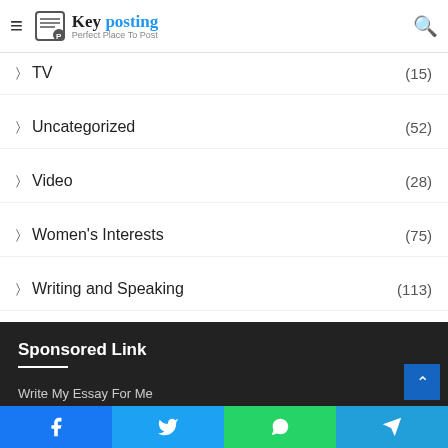Key posting — Perfect Place To Post
TV (15)
Uncategorized (52)
Video (28)
Women's Interests (75)
Writing and Speaking (113)
Sponsored Link
Write My Essay For Me
Facebook | Twitter | WhatsApp | Telegram